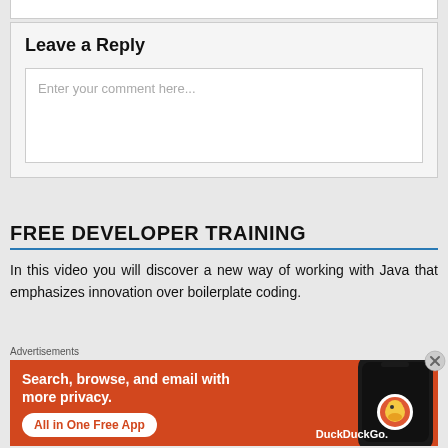Leave a Reply
Enter your comment here...
FREE DEVELOPER TRAINING
In this video you will discover a new way of working with Java that emphasizes innovation over boilerplate coding.
Advertisements
[Figure (infographic): DuckDuckGo advertisement banner with orange background showing Search, browse, and email with more privacy. All in One Free App text with a smartphone image on the right showing DuckDuckGo logo.]